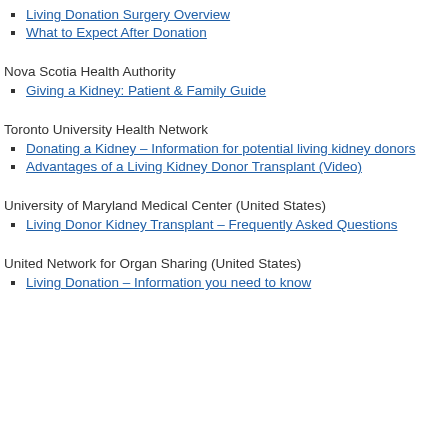Living Donation Surgery Overview
What to Expect After Donation
Nova Scotia Health Authority
Giving a Kidney: Patient & Family Guide
Toronto University Health Network
Donating a Kidney – Information for potential living kidney donors
Advantages of a Living Kidney Donor Transplant (Video)
University of Maryland Medical Center (United States)
Living Donor Kidney Transplant – Frequently Asked Questions
United Network for Organ Sharing (United States)
Living Donation – Information you need to know